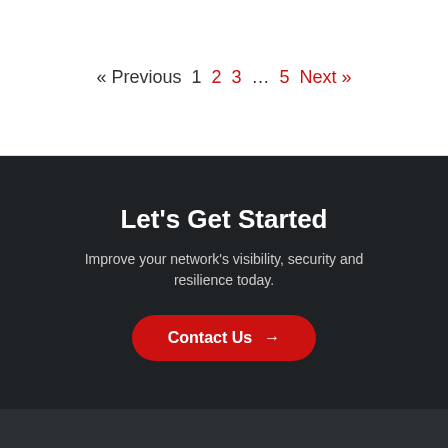« Previous  1  2  3  ...  5  Next »
Let's Get Started
Improve your network's visibility, security and resilience today.
Contact Us →